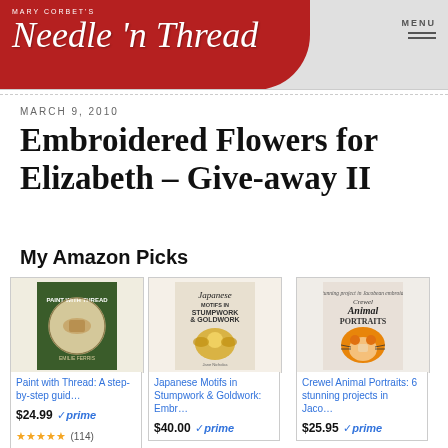MARY CORBET'S Needle 'n Thread | MENU
MARCH 9, 2010
Embroidered Flowers for Elizabeth – Give-away II
My Amazon Picks
[Figure (photo): Book cover: Paint with Thread]
Paint with Thread: A step-by-step guid… $24.99 prime ★★★★★ (114)
[Figure (photo): Book cover: Japanese Motifs in Stumpwork & Goldwork]
Japanese Motifs in Stumpwork & Goldwork: Embr… $40.00 prime
[Figure (photo): Book cover: Crewel Animal Portraits]
Crewel Animal Portraits: 6 stunning projects in Jaco… $25.95 prime